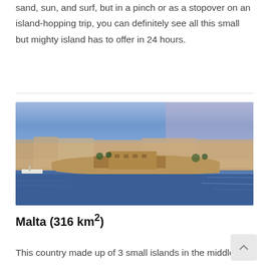sand, sun, and surf, but in a pinch or as a stopover on an island-hopping trip, you can definitely see all this small but mighty island has to offer in 24 hours.
[Figure (photo): Aerial panoramic view of Malta's Grand Harbour at dusk, showing a fortified peninsula with golden limestone buildings, surrounded by calm blue water, with a city skyline in the background under a purple-blue sky]
Malta (316 km²)
This country made up of 3 small islands in the middle of